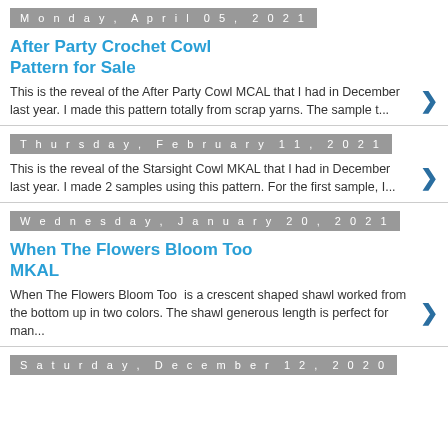Monday, April 05, 2021
After Party Crochet Cowl Pattern for Sale
This is the reveal of the After Party Cowl MCAL that I had in December last year. I made this pattern totally from scrap yarns. The sample t...
Thursday, February 11, 2021
This is the reveal of the Starsight Cowl MKAL that I had in December last year. I made 2 samples using this pattern. For the first sample, I...
Wednesday, January 20, 2021
When The Flowers Bloom Too MKAL
When The Flowers Bloom Too  is a crescent shaped shawl worked from the bottom up in two colors. The shawl generous length is perfect for man...
Saturday, December 12, 2020